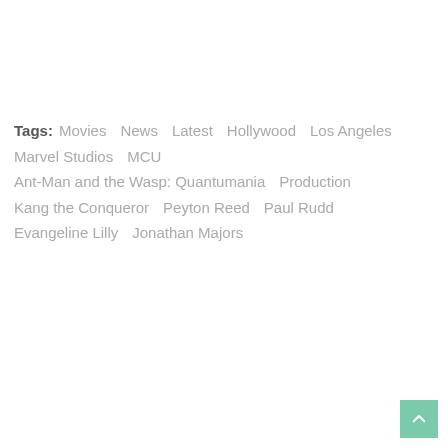Tags: Movies  News  Latest  Hollywood  Los Angeles  Marvel Studios  MCU  Ant-Man and the Wasp: Quantumania  Production  Kang the Conqueror  Peyton Reed  Paul Rudd  Evangeline Lilly  Jonathan Majors